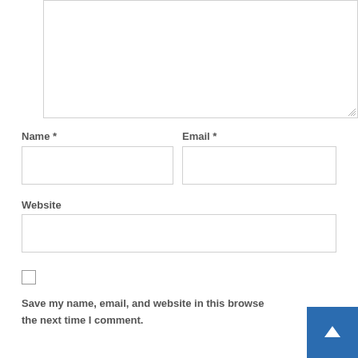[Figure (screenshot): A web form comment section showing a textarea (partially visible at top), Name and Email fields side by side, a Website field, a checkbox, and text 'Save my name, email, and website in this browser for the next time I comment.' A blue back-to-top button with upward arrow is in the bottom right corner.]